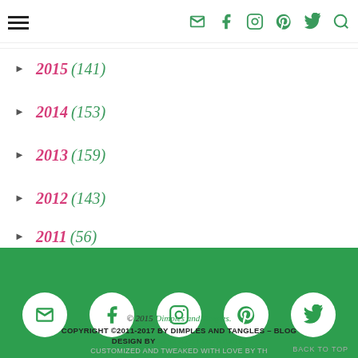► February 2016 (13)
► January 2016 (11)
► 2015 (141)
► 2014 (153)
► 2013 (159)
► 2012 (143)
► 2011 (56)
[Figure (infographic): Green footer bar with 5 white circular social media icons: email/envelope, Facebook, Instagram, Pinterest, Twitter]
© 2015 Dimples and Tangles. COPYRIGHT ©2011-2017 BY DIMPLES AND TANGLES – BLOG DESIGN BY GEORGIA LOU STUDIO. CUSTOMIZED and TWEAKED WITH LOVE BY TH... BACK TO TOP